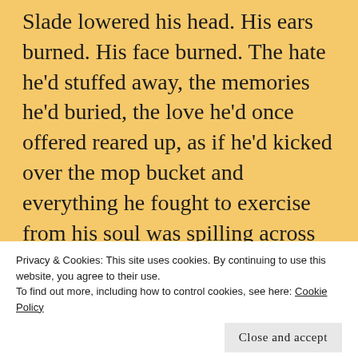Slade lowered his head. His ears burned. His face burned. The hate he'd stuffed away, the memories he'd buried, the love he'd once offered reared up, as if he'd kicked over the mop bucket and everything he fought to exercise from his soul was spilling across the floor instead of water.
Privacy & Cookies: This site uses cookies. By continuing to use this website, you agree to their use.
To find out more, including how to control cookies, see here: Cookie Policy
Close and accept
FOLLOW THE STEAM HOP TO